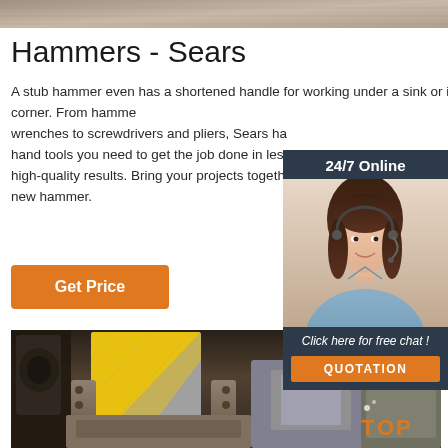[Figure (photo): Top strip showing industrial/machinery background]
Hammers - Sears
A stub hammer even has a shortened handle for working under a sink or in a tight corner. From hammers and wrenches to screwdrivers and pliers, Sears has the hand tools you need to get the job done in less time with high-quality results. Bring your projects together with a new hammer.
[Figure (infographic): 24/7 Online chat widget with female customer service agent photo, 'Click here for free chat!' text, and QUOTATION button]
[Figure (photo): 24/7 online button with text]
Get Price
[Figure (photo): Industrial machinery workshop image showing yellow and grey striped safety barrier and metal press equipment]